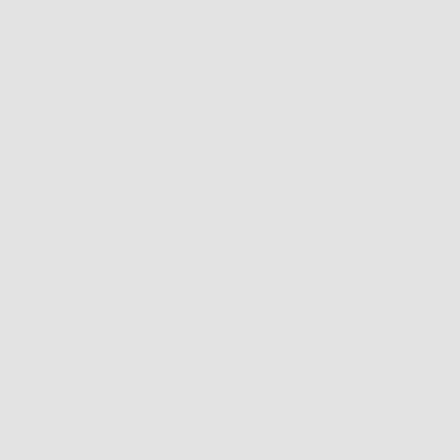| !style="text-align:left;"|Comment | !style="text-align:left;"|Comment |
|  |  |
| |- | |- |
| | [https://CommandChannel.com Command Channel] || {{COMMERCIAL}} || {{YES}} || {{UNKNOWN}} || Instant setup, $0.18/slot, AFK Sweeper, | | [https://cheapmumble.com/ CheapMumble.com] || {{COMMERCIAL}} || {{YES}} || {{YES}} || {{YES}} || Servers in Tokyo, Singapore and more |